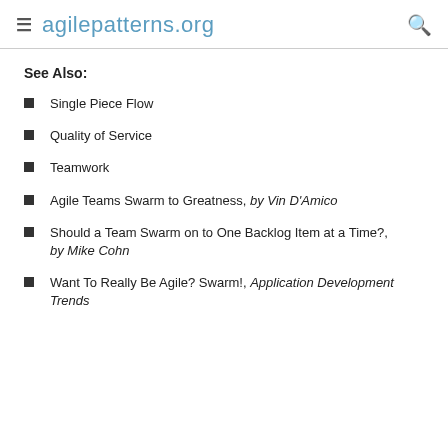agilepatterns.org
See Also:
Single Piece Flow
Quality of Service
Teamwork
Agile Teams Swarm to Greatness, by Vin D'Amico
Should a Team Swarm on to One Backlog Item at a Time?, by Mike Cohn
Want To Really Be Agile? Swarm!, Application Development Trends